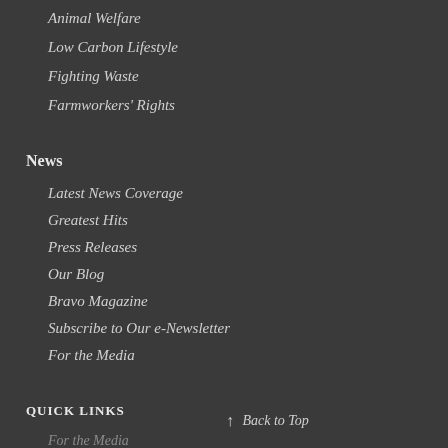Animal Welfare
Low Carbon Lifestyle
Fighting Waste
Farmworkers' Rights
News
Latest News Coverage
Greatest Hits
Press Releases
Our Blog
Bravo Magazine
Subscribe to Our e-Newsletter
For the Media
QUICK LINKS
For the Media
Find Your City
↑ Back to Top